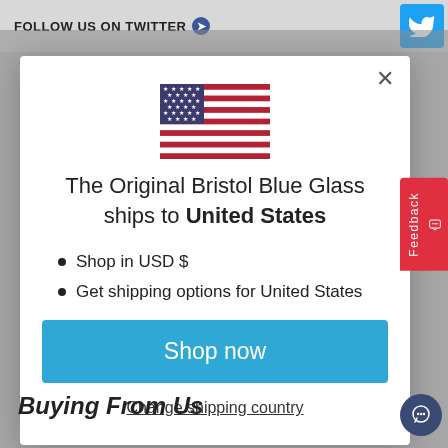FOLLOW US ON TWITTER →
[Figure (illustration): US flag emoji/icon centered in modal popup]
The Original Bristol Blue Glass ships to United States
Shop in USD $
Get shipping options for United States
Shop now
Change shipping country
Buying From Us